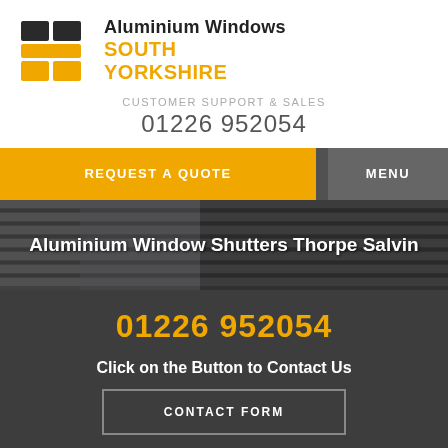[Figure (logo): Aluminium Windows South Yorkshire logo — black and yellow window-pane grid icon with company name text]
CUSTOMER SUPPORT & SALES
01226 952054
REQUEST A QUOTE
MENU
[Figure (photo): Close-up of dark grey aluminium window shutters/louvres]
Aluminium Window Shutters Thorpe Salvin
01226 952054
Click on the Button to Contact Us
CONTACT FORM